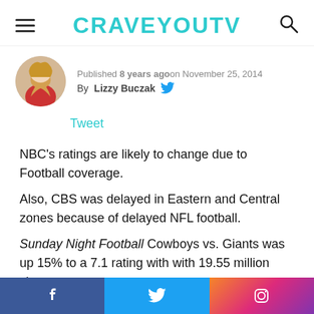CRAVEYOUTV
Published 8 years agoon November 25, 2014
By Lizzy Buczak
Tweet
NBC's ratings are likely to change due to Football coverage.
Also, CBS was delayed in Eastern and Central zones because of delayed NFL football.
Sunday Night Football Cowboys vs. Giants was up 15% to a 7.1 rating with with 19.55 million viewers.
Facebook Twitter Instagram